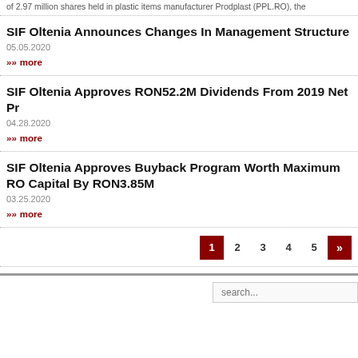of 2.97 million shares held in plastic items manufacturer Prodplast (PPL.RO), the
SIF Oltenia Announces Changes In Management Structure
05.05.2020
» more
SIF Oltenia Approves RON52.2M Dividends From 2019 Net Pr
04.28.2020
» more
SIF Oltenia Approves Buyback Program Worth Maximum RO Capital By RON3.85M
03.25.2020
» more
1  2  3  4  5  »
search...